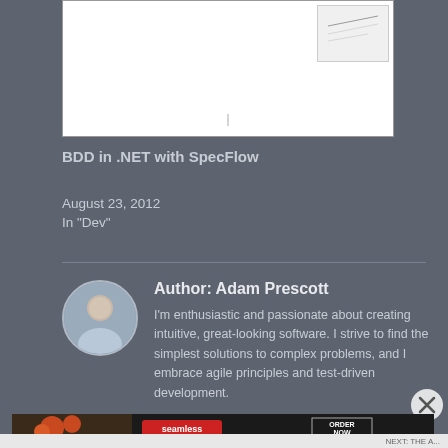[Figure (screenshot): Document preview thumbnail showing a white page with a smaller document preview inset in the top-right corner and a vertical line near the bottom center]
BDD in .NET with SpecFlow
August 23, 2012
In "Dev"
Author: Adam Prescott
I'm enthusiastic and passionate about creating intuitive, great-looking software. I strive to find the simplest solutions to complex problems, and I embrace agile principles and test-driven development.
View all posts by Adam Prescott
[Figure (photo): Seamless food delivery advertisement banner showing pizza on dark background with Seamless logo and ORDER NOW button]
NEXT: THE A...